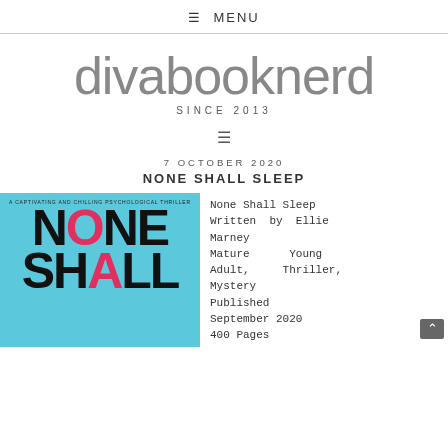☰ MENU
divabooknerd
SINCE 2013
[Figure (other): Hamburger menu icon (three horizontal lines)]
7 OCTOBER 2020
NONE SHALL SLEEP
[Figure (illustration): Book cover of 'None Shall Sleep' on a light blue background, with large bold black letters spelling NONE SHALL (with pink drips), subtitle 'A CAPTIVATING AND CHILLING PSYCHOLOGICAL THRILLER']
None Shall Sleep
Written by Ellie Marney
Mature Young Adult, Thriller, Mystery
Published September 2020
400 Pages